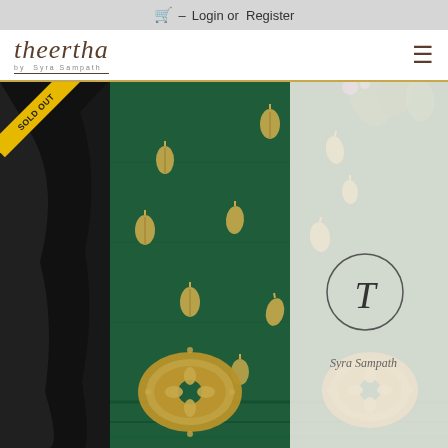🛒  -  Login or  Register
[Figure (logo): Theertha brand logo in italic serif font with decorative underline and small subtitle text]
[Figure (photo): Green silk saree with gold leaf motifs (buti) scattered across the fabric and large ornate gold medallion designs at the bottom. A 'SOLD OUT' diagonal yellow banner is in the top-left corner. Theertha branding watermark visible on right side with 'T' circle logo and 'Syra Sampath' text.]